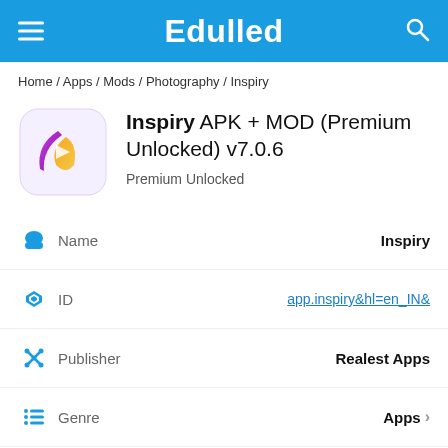Edulled
Home / Apps / Mods / Photography / Inspiry
Inspiry APK + MOD (Premium Unlocked) v7.0.6
Premium Unlocked
| Icon | Field | Value |
| --- | --- | --- |
| android-icon | Name | Inspiry |
| play-icon | ID | app.inspiry&hl=en_IN& |
| tools-icon | Publisher | Realest Apps |
| list-icon | Genre | Apps > |
| gamepad-icon | MOD Features | Premium Unlocked |
| version-icon | Version | 7.0.6 |